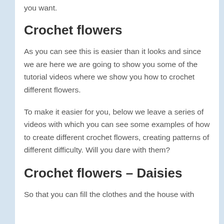you want.
Crochet flowers
As you can see this is easier than it looks and since we are here we are going to show you some of the tutorial videos where we show you how to crochet different flowers.
To make it easier for you, below we leave a series of videos with which you can see some examples of how to create different crochet flowers, creating patterns of different difficulty. Will you dare with them?
Crochet flowers – Daisies
So that you can fill the clothes and the house with